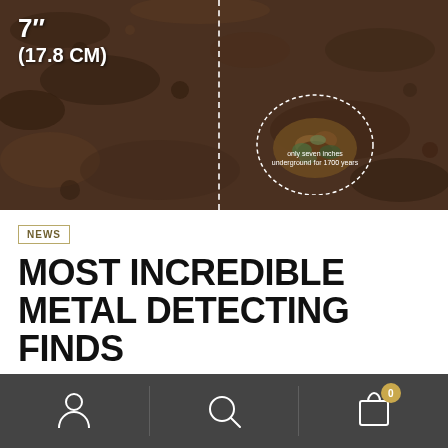[Figure (photo): Aerial/close-up photo of dark soil/dirt with coins buried 7 inches (17.8 cm) underground. A dotted vertical line shows depth, and a dotted oval circle highlights a cluster of ancient coins. Text overlay reads 'only seven inches underground for 1700 years'.]
NEWS
MOST INCREDIBLE METAL DETECTING FINDS
22/04/2022   POST BY PEAKYFINDERS